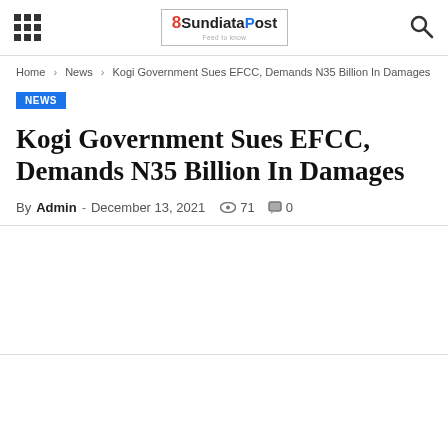SundiataPost - navigation header with hamburger menu, logo, and search icon
Home > News > Kogi Government Sues EFCC, Demands N35 Billion In Damages
NEWS
Kogi Government Sues EFCC, Demands N35 Billion In Damages
By Admin - December 13, 2021  71  0